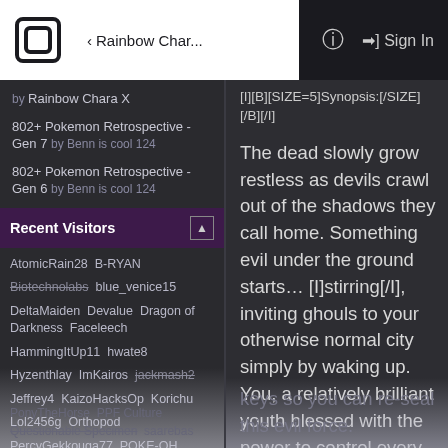Rainbow Char... | Sign In
802+ Pokemon Retrospective - Gen 7 by Benn is cool 124
802+ Pokemon Retrospective - Gen 6 by Benn is cool 124
Recent Visitors
AtomicRain28  B-RYAN
Biotechnolabs  blue_venice15
DeltaMaiden  Devalue  Dragon of Darkness  Faceleech
HammingItUp11  hwate8
Hyzenthlay  ImKairos  jackmash2
Jeffrey4  KaizoHacksOp  Korichu
Lol2456g  Orthopod
PercyGekkouga77  POKE-OH
PonyTheHorse  PPF Culture
Questionable Specimen  saarebas
[I][B][SIZE=5]Synopsis:[/SIZE][/B][/I]
The dead slowly grow restless as devils crawl out of the shadows they call home. Something evil under the ground starts... [I]stirring[/I], inviting ghouls to your otherwise normal city simply by waking up. You, a relatively brilliant youth blessed with the power to control every element, have to go all across the globe to gather special keys so you can re-seal this evil force.